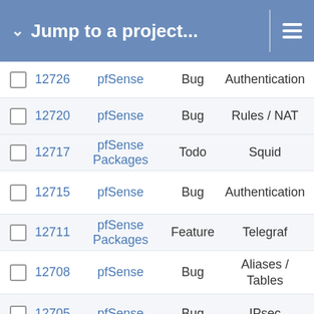Jump to a project...
|  | # | Project | Type | Category |
| --- | --- | --- | --- | --- |
|  | 12726 | pfSense | Bug | Authentication |
|  | 12720 | pfSense | Bug | Rules / NAT |
|  | 12717 | pfSense Packages | Todo | Squid |
|  | 12715 | pfSense | Bug | Authentication |
|  | 12711 | pfSense Packages | Feature | Telegraf |
|  | 12708 | pfSense | Bug | Aliases / Tables |
|  | 12705 | pfSense | Bug | IPsec |
|  | 12679 | pfSense | Feature | Interfaces |